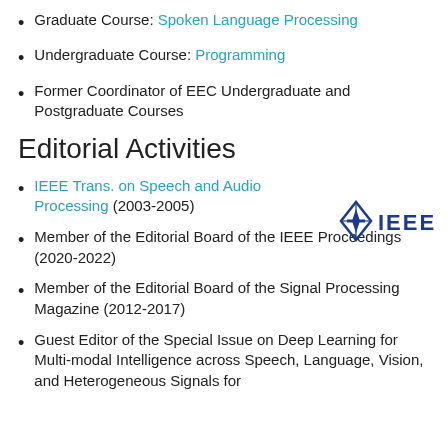Graduate Course: Spoken Language Processing
Undergraduate Course: Programming
Former Coordinator of EEC Undergraduate and Postgraduate Courses
Editorial Activities
Editor-in-Chief IEEE Trans. on Speech and Audio Processing (2003-2005)
[Figure (logo): IEEE logo with blue diamond and IEEE text]
Member of the Editorial Board of the IEEE Proceedings (2020-2022)
Member of the Editorial Board of the Signal Processing Magazine (2012-2017)
Guest Editor of the Special Issue on Deep Learning for Multi-modal Intelligence across Speech, Language, Vision, and Heterogeneous Signals for